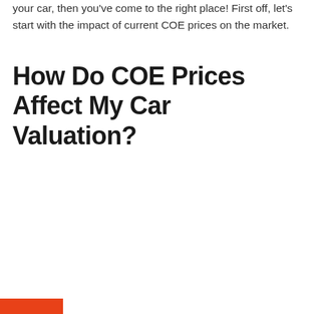your car, then you've come to the right place! First off, let's start with the impact of current COE prices on the market.
How Do COE Prices Affect My Car Valuation?